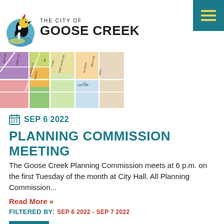THE CITY OF GOOSE CREEK
[Figure (map): Colorful zoning map showing streets including Blossom St, Vine St, Mary Scott Dr, Lucy Dr, Nello Dr, and surrounding areas with colored parcels]
SEP 6 2022
PLANNING COMMISSION MEETING
The Goose Creek Planning Commission meets at 6 p.m. on the first Tuesday of the month at City Hall. All Planning Commission...
Read More »
FILTERED BY: SEP 6 2022 - SEP 7 2022